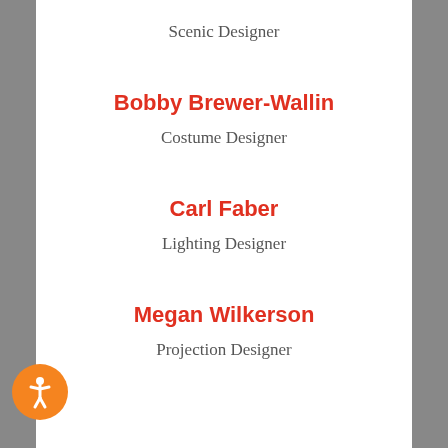Scenic Designer
Bobby Brewer-Wallin
Costume Designer
Carl Faber
Lighting Designer
Megan Wilkerson
Projection Designer
Rodolfo Ortega